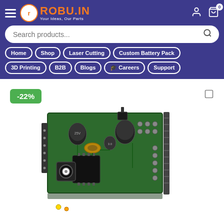[Figure (screenshot): Robu.in website header with logo, search bar, and navigation menu pills on dark purple background]
-22%
[Figure (photo): Electronic circuit board / DC-DC converter module with capacitors, connectors and green PCB]